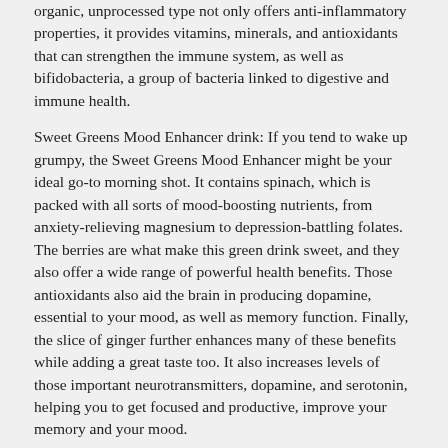organic, unprocessed type not only offers anti-inflammatory properties, it provides vitamins, minerals, and antioxidants that can strengthen the immune system, as well as bifidobacteria, a group of bacteria linked to digestive and immune health.
Sweet Greens Mood Enhancer drink: If you tend to wake up grumpy, the Sweet Greens Mood Enhancer might be your ideal go-to morning shot. It contains spinach, which is packed with all sorts of mood-boosting nutrients, from anxiety-relieving magnesium to depression-battling folates. The berries are what make this green drink sweet, and they also offer a wide range of powerful health benefits. Those antioxidants also aid the brain in producing dopamine, essential to your mood, as well as memory function. Finally, the slice of ginger further enhances many of these benefits while adding a great taste too. It also increases levels of those important neurotransmitters, dopamine, and serotonin, helping you to get focused and productive, improve your memory and your mood.
Sweet Citrus Morning Energizer : Lemons are famous for helping one to get the morning started out right. This citrus fruit can improve digestion and battle morning breath as it combats bacteria in the mouth. As it's loaded with vitamin C, it also